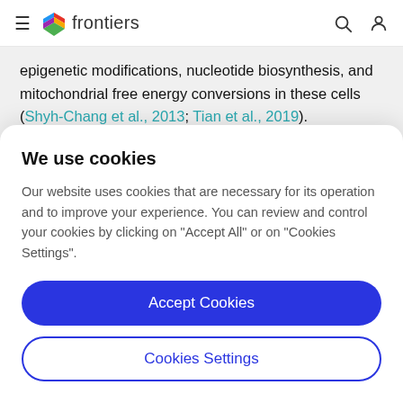frontiers
epigenetic modifications, nucleotide biosynthesis, and mitochondrial free energy conversions in these cells (Shyh-Chang et al., 2013; Tian et al., 2019).

While mES cells are exposed to an optimum
We use cookies
Our website uses cookies that are necessary for its operation and to improve your experience. You can review and control your cookies by clicking on "Accept All" or on "Cookies Settings".
Accept Cookies
Cookies Settings